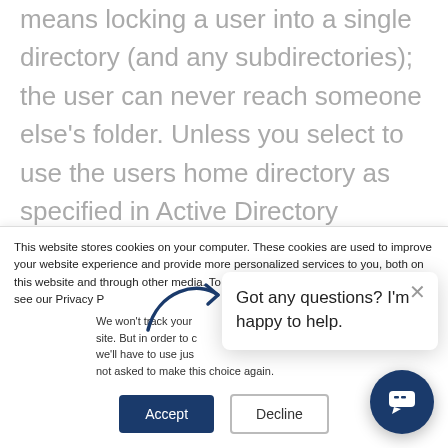means locking a user into a single directory (and any subdirectories); the user can never reach someone else's folder. Unless you select to use the users home directory as specified in Active Directory however, you will still have to manually create the home directory before the user can log on.
This website stores cookies on your computer. These cookies are used to improve your website experience and provide more personalized services to you, both on this website and through other media. To find out more about the cookies we use, see our Privacy P...
We won't track your... site. But in order to c... we'll have to use jus... not asked to make this choice again.
[Figure (screenshot): Chat popup with text 'Got any questions? I'm happy to help.' and a close X button, with a curved arrow pointing to it from the left.]
Got any questions? I'm happy to help.
[Figure (other): Accept and Decline cookie consent buttons, and a circular dark blue chat button with speech bubble icon in the bottom right.]